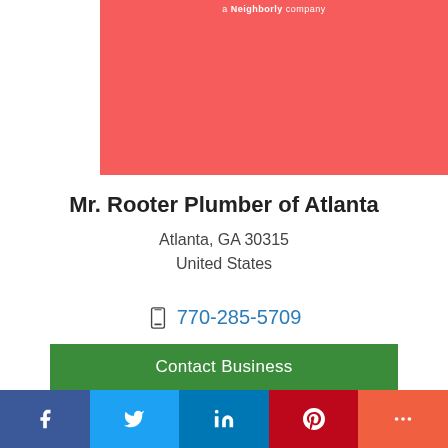[Figure (illustration): Red/coral background banner with small white text reading 'a Neighborly company' at the top]
Mr. Rooter Plumber of Atlanta
Atlanta, GA 30315
United States
770-285-5709
Contact Business
[Figure (infographic): Social media share bar with Facebook (blue), Twitter (light blue), LinkedIn (dark blue), Pinterest (red), and More (orange-red) icons]